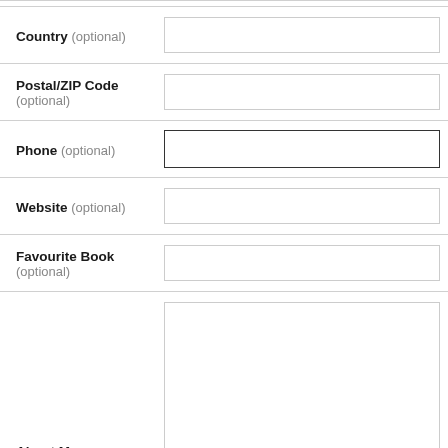Country (optional)
Postal/ZIP Code (optional)
Phone (optional)
Website (optional)
Favourite Book (optional)
About Me (optional)